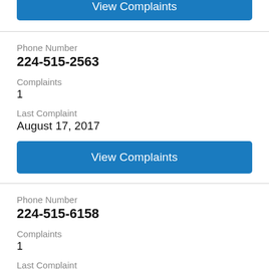[Figure (screenshot): Partially visible 'View Complaints' blue button at top of page, clipped]
Phone Number
224-515-2563
Complaints
1
Last Complaint
August 17, 2017
View Complaints
Phone Number
224-515-6158
Complaints
1
Last Complaint